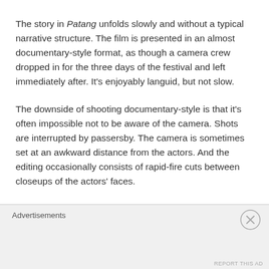The story in Patang unfolds slowly and without a typical narrative structure. The film is presented in an almost documentary-style format, as though a camera crew dropped in for the three days of the festival and left immediately after. It's enjoyably languid, but not slow.
The downside of shooting documentary-style is that it's often impossible not to be aware of the camera. Shots are interrupted by passersby. The camera is sometimes set at an awkward distance from the actors. And the editing occasionally consists of rapid-fire cuts between closeups of the actors' faces.
There were moments when I wanted to be able to ignore the technique and just watch what was happening. The best
Advertisements